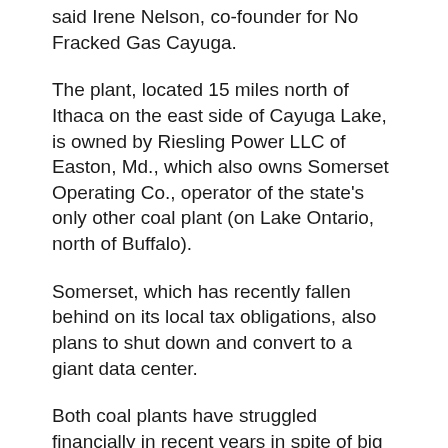said Irene Nelson, co-founder for No Fracked Gas Cayuga.
The plant, located 15 miles north of Ithaca on the east side of Cayuga Lake, is owned by Riesling Power LLC of Easton, Md., which also owns Somerset Operating Co., operator of the state's only other coal plant (on Lake Ontario, north of Buffalo).
Somerset, which has recently fallen behind on its local tax obligations, also plans to shut down and convert to a giant data center.
Both coal plants have struggled financially in recent years in spite of big tax breaks and heavy ratepayer subsidies.
Their prospects have been further clouded by Gov.